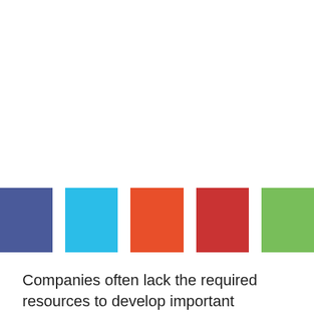[Figure (infographic): Five colored squares in a row: dark blue, cyan/light blue, orange-red, red, and green]
Companies often lack the required resources to develop important administrative and support processes to support